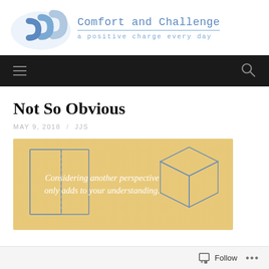[Figure (logo): Comfort and Challenge blog logo - overlapping C letters in blue tones]
Comfort and Challenge
a positive charge every day
Navigation bar with hamburger menu and search icon
Not So Obvious
MAY 9, 2018 / JJS
[Figure (illustration): Illustration on sandy/tan textured background showing geometric box outlines on the left and a 3D isometric box shape on the right, with white text reading: Considering another perspective only adds to your understanding.]
Follow ...